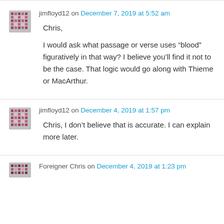jimfloyd12 on December 7, 2019 at 5:52 am
Chris,

I would ask what passage or verse uses “blood” figuratively in that way? I believe you’ll find it not to be the case. That logic would go along with Thieme or MacArthur.
jimfloyd12 on December 4, 2019 at 1:57 pm
Chris, I don’t believe that is accurate. I can explain more later.
Foreigner Chris on December 4, 2019 at 1:23 pm